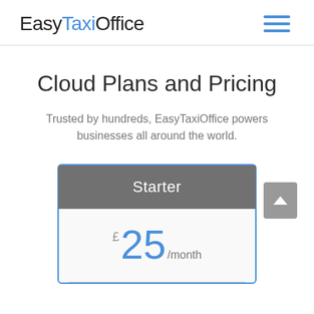EasyTaxiOffice
Cloud Plans and Pricing
Trusted by hundreds, EasyTaxiOffice powers businesses all around the world.
Starter £25/month